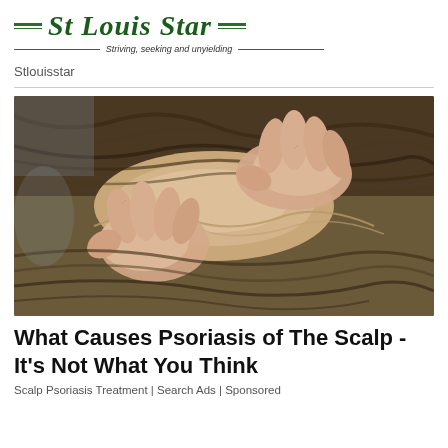St Louis Star — Striving, seeking and unyielding
Stlouisstar
[Figure (photo): Close-up photograph of two hands parting hair on a person's scalp, showing scalp skin between strands of brown/blonde hair, indicating scalp condition examination.]
What Causes Psoriasis of The Scalp - It's Not What You Think
Scalp Psoriasis Treatment | Search Ads | Sponsored